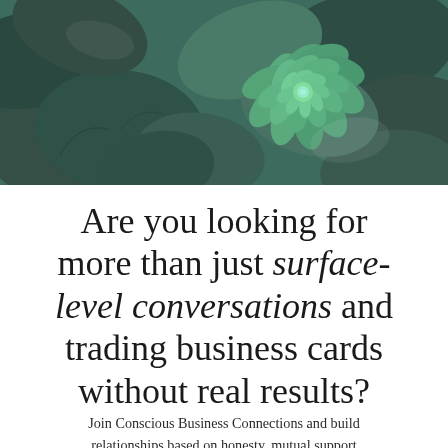[Figure (photo): Close-up photograph of succulent plants with blue-green and teal-green leaves, featuring a rosette-shaped succulent in the center-right.]
Are you looking for more than just surface-level conversations and trading business cards without real results?
Join Conscious Business Connections and build relationships based on honesty, mutual support